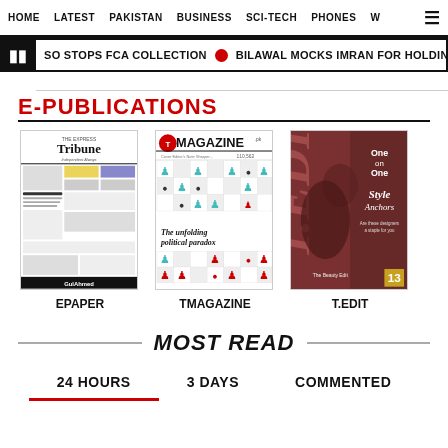HOME  LATEST  PAKISTAN  BUSINESS  SCI-TECH  PHONES  W  ☰
SO STOPS FCA COLLECTION • BILAWAL MOCKS IMRAN FOR HOLDING 'CONCERTS'
E-PUBLICATIONS
[Figure (illustration): EPAPER - Tribune newspaper front page thumbnail]
EPAPER
[Figure (illustration): TMAGAZINE cover with chess pieces - The unfolding political paradox]
TMAGAZINE
[Figure (illustration): T.EDIT magazine cover with fashion model - Style Anchors, The Beauty Edit]
T.EDIT
MOST READ
24 HOURS  3 DAYS  COMMENTED